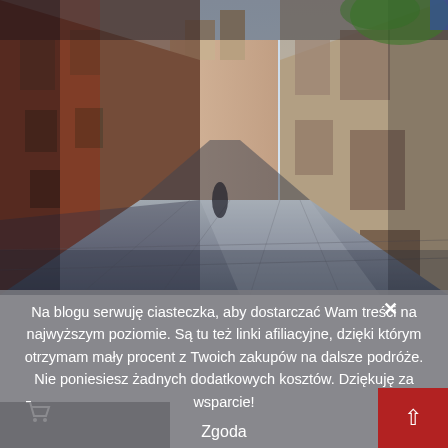[Figure (photo): Street photo of a narrow European (likely Italian/Venetian) alley with old colorful buildings on both sides, cobblestone pavement, perspective leading into the distance]
Na blogu serwuję ciasteczka, aby dostarczać Wam treści na najwyższym poziomie. Są tu też linki afiliacyjne, dzięki którym otrzymam mały procent z Twoich zakupów na dalsze podróże. Nie poniesiesz żadnych dodatkowych kosztów. Dziękuję za wsparcie!
Zgoda